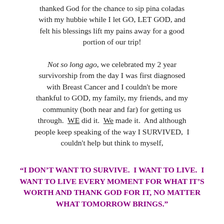thanked God for the chance to sip pina coladas with my hubbie while I let GO, LET GOD, and felt his blessings lift my pains away for a good portion of our trip!
Not so long ago, we celebrated my 2 year survivorship from the day I was first diagnosed with Breast Cancer and I couldn't be more thankful to GOD, my family, my friends, and my community (both near and far) for getting us through.  WE did it.  We made it.  And although people keep speaking of the way I SURVIVED,  I couldn't help but think to myself,
“I DON’T WANT TO SURVIVE.  I WANT TO LIVE.  I WANT TO LIVE EVERY MOMENT FOR WHAT IT’S WORTH AND THANK GOD FOR IT, NO MATTER WHAT TOMORROW BRINGS.”